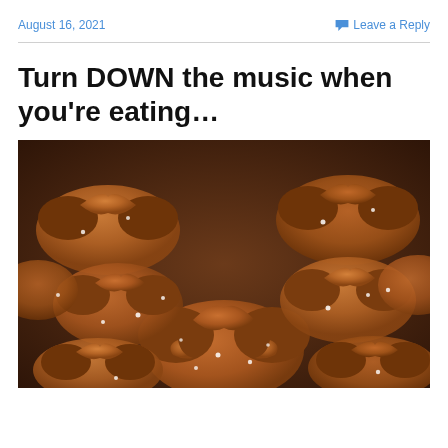August 16, 2021    Leave a Reply
Turn DOWN the music when you're eating…
[Figure (photo): Close-up photograph of many salted hard pretzels piled together, showing their golden-brown twisted loops with white salt crystals on a dark background.]